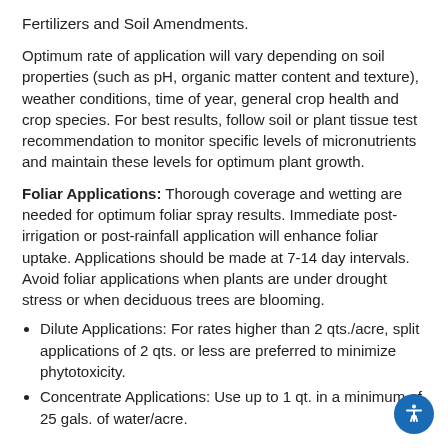Fertilizers and Soil Amendments.
Optimum rate of application will vary depending on soil properties (such as pH, organic matter content and texture), weather conditions, time of year, general crop health and crop species. For best results, follow soil or plant tissue test recommendation to monitor specific levels of micronutrients and maintain these levels for optimum plant growth.
Foliar Applications: Thorough coverage and wetting are needed for optimum foliar spray results. Immediate post-irrigation or post-rainfall application will enhance foliar uptake. Applications should be made at 7-14 day intervals. Avoid foliar applications when plants are under drought stress or when deciduous trees are blooming.
Dilute Applications: For rates higher than 2 qts./acre, split applications of 2 qts. or less are preferred to minimize phytotoxicity.
Concentrate Applications: Use up to 1 qt. in a minimum of 25 gals. of water/acre.